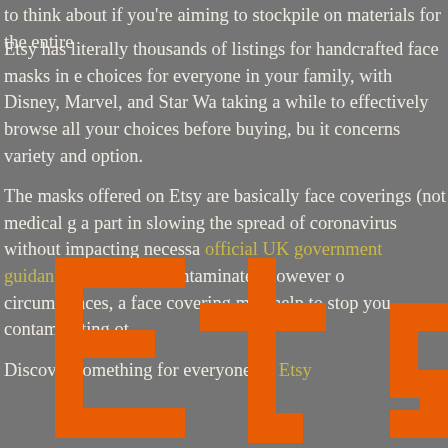to think about if you're aiming to stockpile on materials for the entire...
Etsy has literally thousands of listings for handcrafted face masks in e... choices for everyone in your family, with Disney, Marvel, and Star Wa... taking a while to effectively browse all your choices before buying, bu... it concerns variety and option.
The masks offered on Etsy are basically face coverings (not medical g... a part in slowing the spread of coronavirus without impacting necessa... official UK government guidance). If you are contaminated however o... circumstances, a face covering may help to stop you contaminating ot...
Discover something for everyone on Etsy
[Figure (logo): Large orange Etsy logo text (partial, cropped at bottom right)]